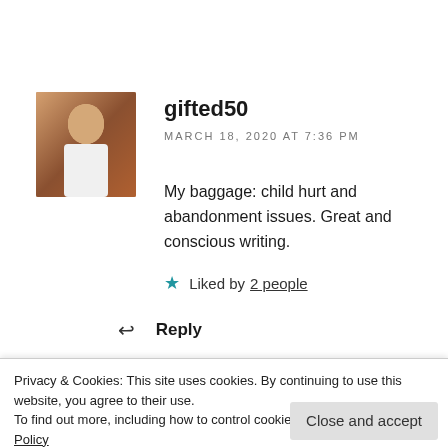[Figure (photo): Avatar/profile photo of user gifted50, showing a person in a white top]
gifted50
MARCH 18, 2020 AT 7:36 PM
My baggage: child hurt and abandonment issues. Great and conscious writing.
Liked by 2 people
Reply
Privacy & Cookies: This site uses cookies. By continuing to use this website, you agree to their use.
To find out more, including how to control cookies, see here: Cookie Policy
Close and accept
Thanks so much for sharing. Keep it locked here